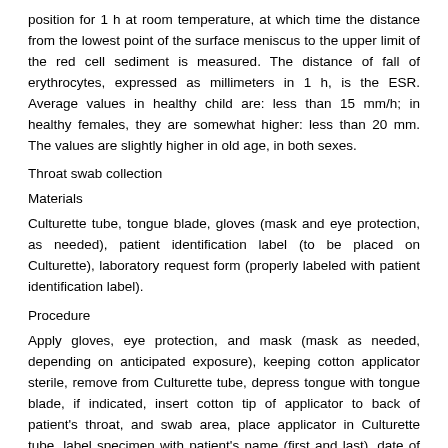position for 1 h at room temperature, at which time the distance from the lowest point of the surface meniscus to the upper limit of the red cell sediment is measured. The distance of fall of erythrocytes, expressed as millimeters in 1 h, is the ESR. Average values in healthy child are: less than 15 mm/h; in healthy females, they are somewhat higher: less than 20 mm. The values are slightly higher in old age, in both sexes.
Throat swab collection
Materials
Culturette tube, tongue blade, gloves (mask and eye protection, as needed), patient identification label (to be placed on Culturette), laboratory request form (properly labeled with patient identification label).
Procedure
Apply gloves, eye protection, and mask (mask as needed, depending on anticipated exposure), keeping cotton applicator sterile, remove from Culturette tube, depress tongue with tongue blade, if indicated, insert cotton tip of applicator to back of patient's throat, and swab area, place applicator in Culturette tube, label specimen with patient's name (first and last), date of birth, date and time of collection, and source of specimen, pyogenes is cultured on a growth medium called blood agar. Agar is a gel that is made from the cell walls of red algae. Blood agar is made from agar gel and sheep's blood. When the throat swab reaches the laboratory, it is wiped across a blood agar plate. The plate is allowed to incubate for 24, 48 h to